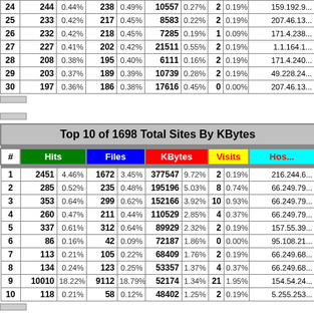| # | Hits |  | Files |  | KBytes |  | Visits |  | Hostname |
| --- | --- | --- | --- | --- | --- | --- | --- | --- | --- |
| 24 | 244 | 0.44% | 238 | 0.49% | 10557 | 0.27% | 2 | 0.19% | 159.192.9... |
| 25 | 233 | 0.42% | 217 | 0.45% | 8583 | 0.22% | 2 | 0.19% | 207.46.13... |
| 26 | 232 | 0.42% | 218 | 0.45% | 7285 | 0.19% | 1 | 0.09% | 171.4.238... |
| 27 | 227 | 0.41% | 202 | 0.42% | 21511 | 0.55% | 2 | 0.19% | 1.1.164.1... |
| 28 | 208 | 0.38% | 195 | 0.40% | 6111 | 0.16% | 2 | 0.19% | 171.4.240... |
| 29 | 203 | 0.37% | 189 | 0.39% | 10739 | 0.28% | 2 | 0.19% | 49.228.24... |
| 30 | 197 | 0.36% | 186 | 0.38% | 17616 | 0.45% | 0 | 0.00% | 207.46.13... |
| # | Hits |  | Files |  | KBytes |  | Visits |  | Hostname |
| --- | --- | --- | --- | --- | --- | --- | --- | --- | --- |
| 1 | 2451 | 4.46% | 1672 | 3.45% | 377547 | 9.72% | 2 | 0.19% | 216.244.6... |
| 2 | 285 | 0.52% | 235 | 0.48% | 195196 | 5.03% | 8 | 0.74% | 66.249.79... |
| 3 | 353 | 0.64% | 299 | 0.62% | 152166 | 3.92% | 10 | 0.93% | 66.249.79... |
| 4 | 260 | 0.47% | 211 | 0.44% | 110529 | 2.85% | 4 | 0.37% | 66.249.79... |
| 5 | 337 | 0.61% | 312 | 0.64% | 89929 | 2.32% | 2 | 0.19% | 157.55.39... |
| 6 | 86 | 0.16% | 42 | 0.09% | 72187 | 1.86% | 0 | 0.00% | 95.108.21... |
| 7 | 113 | 0.21% | 105 | 0.22% | 68409 | 1.76% | 2 | 0.19% | 66.249.68... |
| 8 | 134 | 0.24% | 123 | 0.25% | 53357 | 1.37% | 4 | 0.37% | 66.249.68... |
| 9 | 10010 | 18.22% | 9112 | 18.79% | 52174 | 1.34% | 21 | 1.95% | 154.54.24... |
| 10 | 118 | 0.21% | 58 | 0.12% | 48402 | 1.25% | 2 | 0.19% | 5.255.253... |